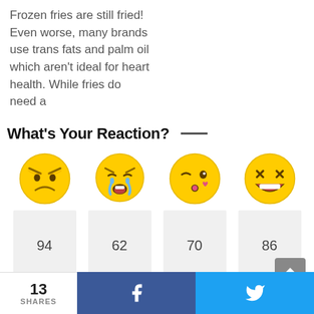Frozen fries are still fried! Even worse, many brands use trans fats and palm oil which aren't ideal for heart health. While fries do need a
What's Your Reaction?  —
[Figure (infographic): Four emoji reaction icons: angry face, loudly crying face, face blowing a kiss, grinning squinting face. Below each emoji is a count box showing 94, 62, 70, 86 respectively.]
13 SHARES  [Facebook share button]  [Twitter share button]